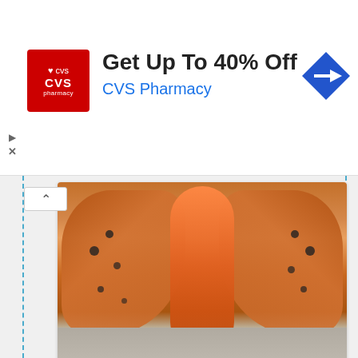[Figure (photo): CVS Pharmacy advertisement banner: 'Get Up To 40% Off / CVS Pharmacy' with red CVS logo and blue navigation arrow icon]
[Figure (photo): Close-up photograph of an Isabella Tiger Moth with orange/rust-colored wings spread open on a stone surface, with black spots visible]
Isabella Tiger Moth Image
comicvine.gamespot.com
[Figure (photo): Photograph of a pale yellow/tan moth viewed from above on a red brick and concrete surface, with antennae visible]